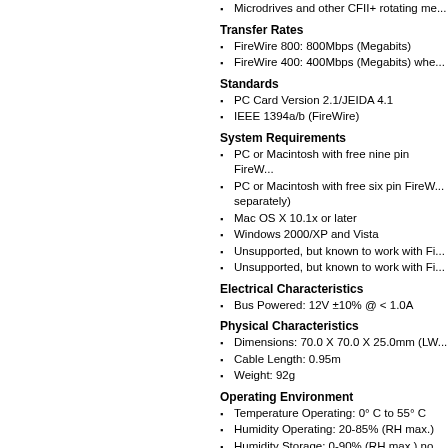Microdrives and other CFII+ rotating me...
Transfer Rates
FireWire 800: 800Mbps (Megabits)
FireWire 400: 400Mbps (Megabits) whe...
Standards
PC Card Version 2.1/JEIDA 4.1
IEEE 1394a/b (FireWire)
System Requirements
PC or Macintosh with free nine pin FireW...
PC or Macintosh with free six pin FireW... separately)
Mac OS X 10.1x or later
Windows 2000/XP and Vista
Unsupported, but known to work with Fi...
Unsupported, but known to work with Fi...
Electrical Characteristics
Bus Powered: 12V ±10% @ < 1.0A
Physical Characteristics
Dimensions: 70.0 X 70.0 X 25.0mm (LW...
Cable Length: 0.95m
Weight: 92g
Operating Environment
Temperature Operating: 0° C to 55° C
Humidity Operating: 20-85% (RH max.)
Humidity Storage: 0-90% (RH max.) no...
Package Includes
CFFire800 Pro FireWire 800 to UDMA C...
Support
Terry White Reviews the CFFire800 Pro
Creating Fastest Portable RAW Photo In...
Story of how Synchrotech innovated a t... using a MacBook Pro in the field.